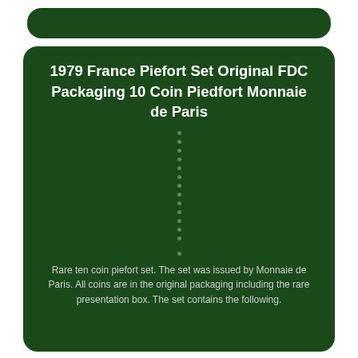1979 France Piefort Set Original FDC Packaging 10 Coin Piedfort Monnaie de Paris
[Figure (other): Decorative vertical dotted line separator on dark green background]
Rare ten coin piefort set. The set was issued by Monnaie de Paris. All coins are in the original packaging including the rare presentation box. The set contains the following.